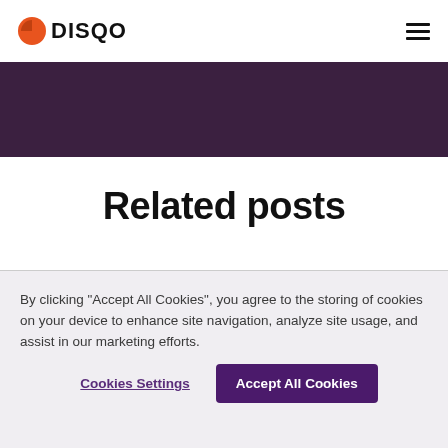DISQO
[Figure (other): Dark purple/maroon banner background strip]
Related posts
By clicking "Accept All Cookies", you agree to the storing of cookies on your device to enhance site navigation, analyze site usage, and assist in our marketing efforts.
Cookies Settings | Accept All Cookies